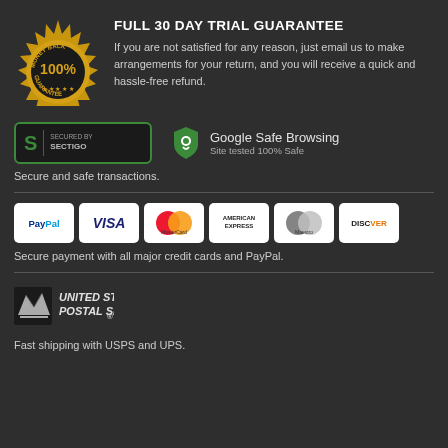[Figure (logo): Gold Money Back 100% Guarantee badge/seal with starburst border]
FULL 30 DAY TRIAL GUARANTEE
If you are not satisfied for any reason, just email us to make arrangements for your return, and you will receive a quick and hassle-free refund.
[Figure (logo): Sectigo Secured By badge with green border and S logo]
[Figure (logo): Google Safe Browsing shield icon with text: Google Safe Browsing, Site tested 100% Safe]
Secure and safe transactions.
[Figure (logo): PayPal, Visa, MasterCard, American Express, Maestro, Discover payment method logos]
Secure payment with all major credit cards and PayPal.
[Figure (logo): United States Postal Service USPS logo]
Fast shipping with USPS and UPS.